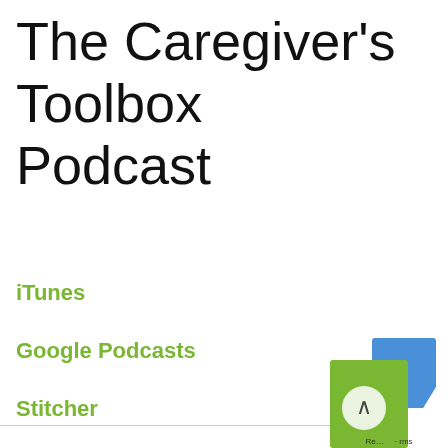The Caregiver's Toolbox Podcast
iTunes
Google Podcasts
Stitcher
Spotify